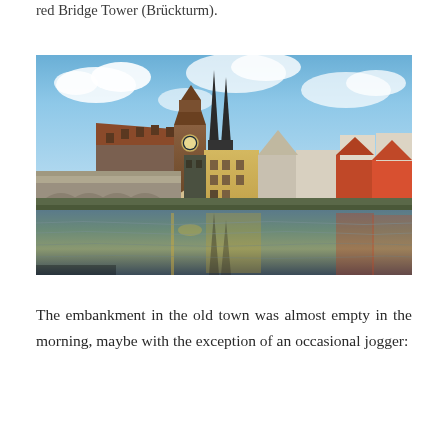red Bridge Tower (Brückturm).
[Figure (photo): Panoramic view of Regensburg old town from across the river, showing the Stone Bridge, Bridge Tower (Brückturm), Cathedral spires, and colorful historic buildings reflected in the calm water of the Danube river. Sky with blue and white clouds above.]
The embankment in the old town was almost empty in the morning, maybe with the exception of an occasional jogger: